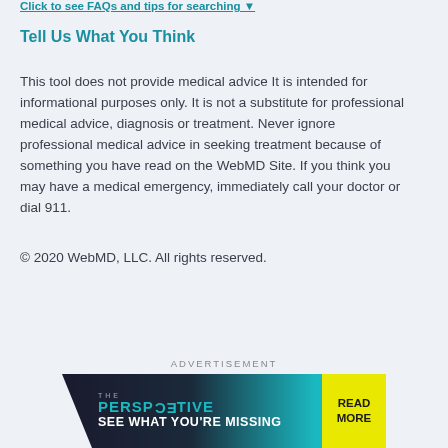Click to see FAQs and tips for searching ▼
Tell Us What You Think
This tool does not provide medical advice It is intended for informational purposes only. It is not a substitute for professional medical advice, diagnosis or treatment. Never ignore professional medical advice in seeking treatment because of something you have read on the WebMD Site. If you think you may have a medical emergency, immediately call your doctor or dial 911.
© 2020 WebMD, LLC. All rights reserved.
ADVERTISEMENT
[Figure (other): Advertisement banner for 'The Perspective' with text 'SEE WHAT YOU'RE MISSING' and a 'READ MORE' button on yellow background]